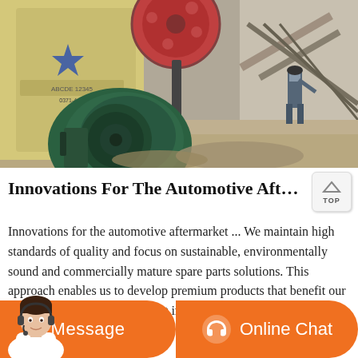[Figure (photo): Industrial machinery scene showing a large jaw crusher or similar heavy equipment with a green motor/flywheel in the foreground, a worker in a hard hat operating the machine, and a conveyor belt structure visible in the background inside an industrial facility.]
Innovations For The Automotive Aftermarket Faureci...
Innovations for the automotive aftermarket ... We maintain high standards of quality and focus on sustainable, environmentally sound and commercially mature spare parts solutions. This approach enables us to develop premium products that benefit our customers and the environment in the long term.